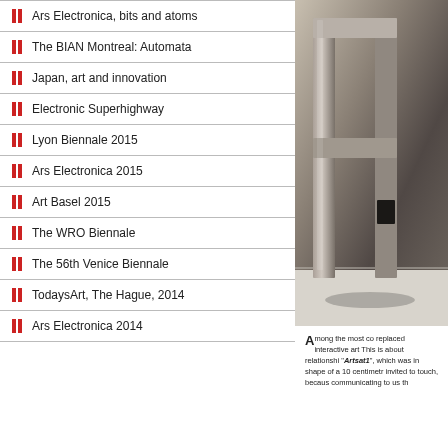Ars Electronica, bits and atoms
The BIAN Montreal: Automata
Japan, art and innovation
Electronic Superhighway
Lyon Biennale 2015
Ars Electronica 2015
Art Basel 2015
The WRO Biennale
The 56th Venice Biennale
TodaysArt, The Hague, 2014
Ars Electronica 2014
[Figure (photo): A metallic sculptural object in the shape of a large letter, photographed in a gallery setting]
Among the most co replaced interactive art This is about relationshi "Artsat1", which was in shape of a 10 centimetr invited to touch, becaus communicating to us th